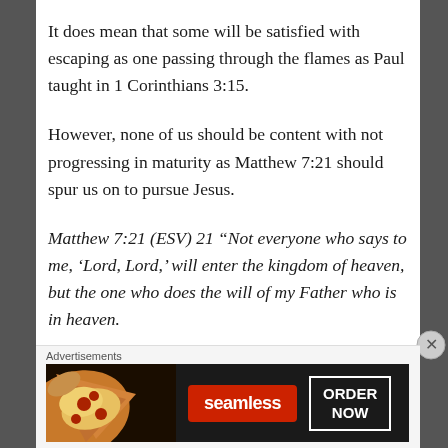It does mean that some will be satisfied with escaping as one passing through the flames as Paul taught in 1 Corinthians 3:15.
However, none of us should be content with not progressing in maturity as Matthew 7:21 should spur us on to pursue Jesus.
Matthew 7:21 (ESV) 21 “Not everyone who says to me, ‘Lord, Lord,’ will enter the kingdom of heaven, but the one who does the will of my Father who is in heaven.
Our security and our conscious pursuit of Jesus
[Figure (other): Seamless food delivery advertisement banner showing pizza image on left, Seamless red logo button in center, and ORDER NOW white-bordered button on right, on dark background.]